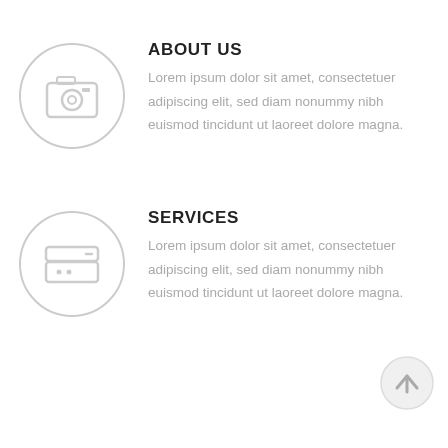[Figure (illustration): Circle icon with a camera/photo icon inside, light gray outline]
ABOUT US
Lorem ipsum dolor sit amet, consectetuer adipiscing elit, sed diam nonummy nibh euismod tincidunt ut laoreet dolore magna.
[Figure (illustration): Circle icon with a server/storage drive icon inside, light gray outline]
SERVICES
Lorem ipsum dolor sit amet, consectetuer adipiscing elit, sed diam nonummy nibh euismod tincidunt ut laoreet dolore magna.
[Figure (illustration): Circle button with upward arrow, back-to-top button, light gray]